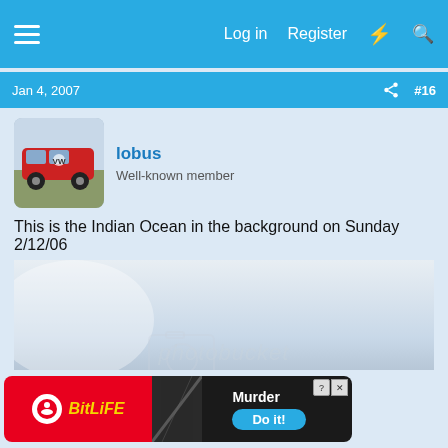Log in  Register
Jan 4, 2007  #16
lobus
Well-known member
This is the Indian Ocean in the background on Sunday 2/12/06
[Figure (photo): Photobucket hosted photo showing a vehicle near the Indian Ocean on a hazy day, with a watermark overlay reading 'photobucket host store share']
[Figure (other): BitLife advertisement banner: red left panel with BitLife logo, dark right panel with 'Murder Do it!' text and close button]